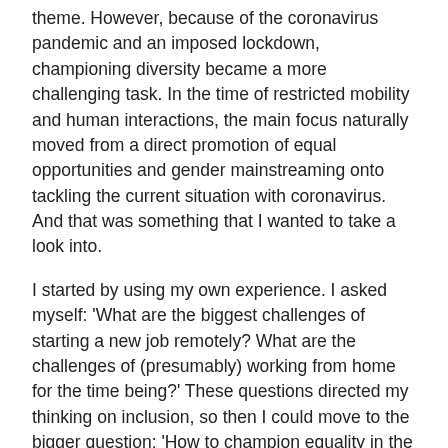theme. However, because of the coronavirus pandemic and an imposed lockdown, championing diversity became a more challenging task. In the time of restricted mobility and human interactions, the main focus naturally moved from a direct promotion of equal opportunities and gender mainstreaming onto tackling the current situation with coronavirus. And that was something that I wanted to take a look into.
I started by using my own experience. I asked myself: 'What are the biggest challenges of starting a new job remotely? What are the challenges of (presumably) working from home for the time being?' These questions directed my thinking on inclusion, so then I could move to the bigger question: 'How to champion equality in the coronavirus lockdown?' By consulting a range of sources and leading diversity